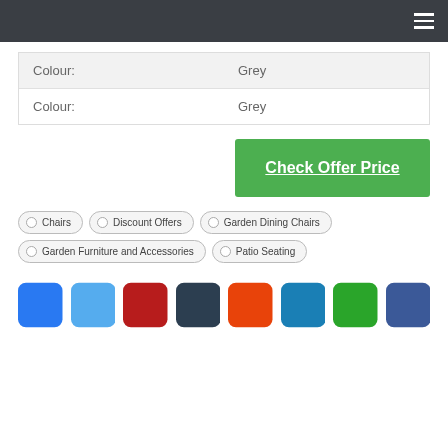Navigation bar with hamburger menu
| Colour: | Grey |
| Colour: | Grey |
Check Offer Price
Chairs
Discount Offers
Garden Dining Chairs
Garden Furniture and Accessories
Patio Seating
[Figure (illustration): Row of 8 social media icon squares in colors: blue, light blue, red, dark navy, orange, teal, green, medium blue]